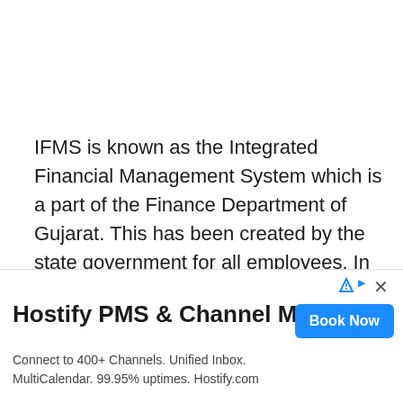IFMS is known as the Integrated Financial Management System which is a part of the Finance Department of Gujarat. This has been created by the state government for all employees. In this web portal, Payroll Employee Login Web application has been introduced for all the
[Figure (other): Advertisement banner for Hostify PMS & Channel Manager with 'Book Now' button. Text: 'Connect to 400+ Channels. Unified Inbox. MultiCalendar. 99.95% uptimes. Hostify.com']